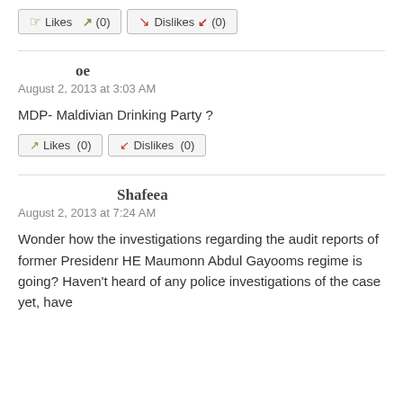[Figure (other): Like and Dislike buttons showing (0) counts each, top of page]
oe
August 2, 2013 at 3:03 AM
MDP- Maldivian Drinking Party ?
[Figure (other): Like and Dislike buttons showing (0) counts each, after first comment]
Shafeea
August 2, 2013 at 7:24 AM
Wonder how the investigations regarding the audit reports of former Presidenr HE Maumonn Abdul Gayooms regime is going? Haven't heard of any police investigations of the case yet, have